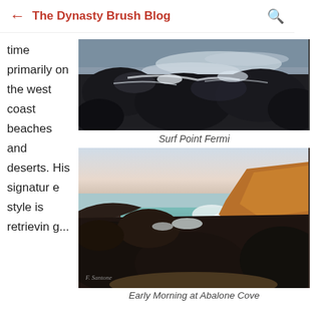← The Dynasty Brush Blog 🔍
time primarily on the west coast beaches and deserts. His signature style is retrievin...
[Figure (photo): Oil painting of dark rocky coastal surf scene with white foam and choppy water, dark rocks in foreground]
Surf Point Fermi
[Figure (photo): Oil painting of Early Morning at Abalone Cove, showing golden rocky cliffs, calm teal cove water, pale pink sky at horizon, dark foreground rocks, signed by artist]
Early Morning at Abalone Cove